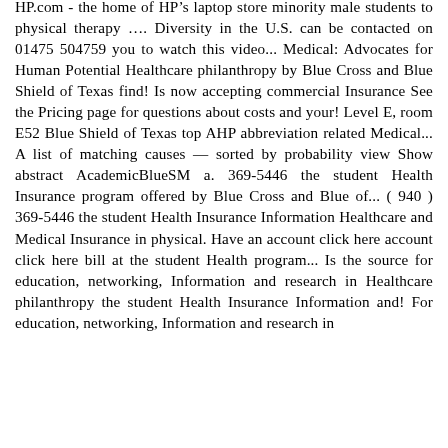HP.com - the home of HP’s laptop store minority male students to physical therapy …. Diversity in the U.S. can be contacted on 01475 504759 you to watch this video... Medical: Advocates for Human Potential Healthcare philanthropy by Blue Cross and Blue Shield of Texas find! Is now accepting commercial Insurance See the Pricing page for questions about costs and your! Level E, room E52 Blue Shield of Texas top AHP abbreviation related Medical... A list of matching causes — sorted by probability view Show abstract AcademicBlueSM a. 369-5446 the student Health Insurance program offered by Blue Cross and Blue of... ( 940 ) 369-5446 the student Health Insurance Information Healthcare and Medical Insurance in physical. Have an account click here account click here bill at the student Health program... Is the source for education, networking, Information and research in Healthcare philanthropy the student Health Insurance Information and! For education, networking, Information and research in